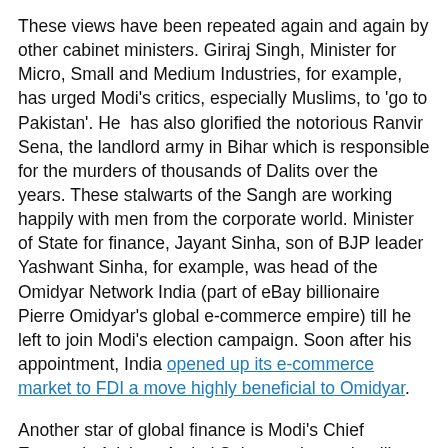These views have been repeated again and again by other cabinet ministers. Giriraj Singh, Minister for Micro, Small and Medium Industries, for example, has urged Modi's critics, especially Muslims, to 'go to Pakistan'. He has also glorified the notorious Ranvir Sena, the landlord army in Bihar which is responsible for the murders of thousands of Dalits over the years. These stalwarts of the Sangh are working happily with men from the corporate world. Minister of State for finance, Jayant Sinha, son of BJP leader Yashwant Sinha, for example, was head of the Omidyar Network India (part of eBay billionaire Pierre Omidyar's global e-commerce empire) till he left to join Modi's election campaign. Soon after his appointment, India opened up its e-commerce market to FDI a move highly beneficial to Omidyar.
Another star of global finance is Modi's Chief Economic Advisor, Arvind Subramaniam, who till recently advised the US Congress on the challenges posed to US business interests by India's domestic 'protectionism'. In addition, Modi makes no bones about his relationship with India's corporate barons Mukesh Ambani, the second richest man in Asia